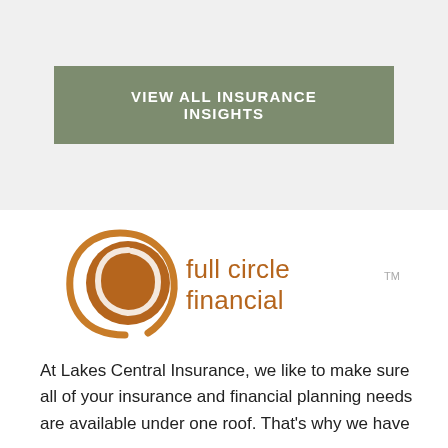VIEW ALL INSURANCE INSIGHTS
[Figure (logo): Full Circle Financial logo — a brown circle with a stylized swirl arc forming a second circle outline, accompanied by the text 'full circle financial' in brown with a TM superscript]
At Lakes Central Insurance, we like to make sure all of your insurance and financial planning needs are available under one roof. That's why we have partnered together with Full Circle...